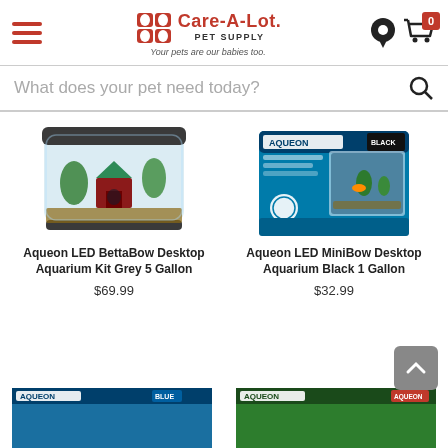[Figure (screenshot): Care-A-Lot Pet Supply website header with hamburger menu, logo, location pin, and cart icon]
What does your pet need today?
[Figure (photo): Aqueon LED BettaBow Desktop Aquarium Kit Grey 5 Gallon product photo]
[Figure (photo): Aqueon LED MiniBow Desktop Aquarium Black 1 Gallon product box photo]
Aqueon LED BettaBow Desktop Aquarium Kit Grey 5 Gallon
Aqueon LED MiniBow Desktop Aquarium Black 1 Gallon
$69.99
$32.99
[Figure (photo): Partially visible Aqueon product box at bottom left (Blue)]
[Figure (photo): Partially visible Aqueon product box at bottom right]